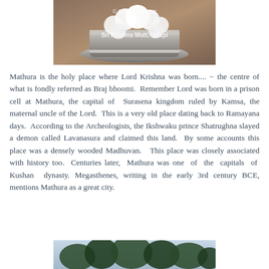[Figure (photo): A decorative silver vessel or crown adorned with white flowers, with watermark text reading 'Sri Krishna Mutt, Udupi']
Mathura is the holy place where Lord Krishna was born.... ~ the centre of what is fondly referred as Braj bhoomi. Remember Lord was born in a prison cell at Mathura, the capital of Surasena kingdom ruled by Kamsa, the maternal uncle of the Lord. This is a very old place dating back to Ramayana days. According to the Archeologists, the Ikshwaku prince Shatrughna slayed a demon called Lavanasura and claimed this land. By some accounts this place was a densely wooded Madhuvan. This place was closely associated with history too. Centuries later, Mathura was one of the capitals of Kushan dynasty. Megasthenes, writing in the early 3rd century BCE, mentions Mathura as a great city.
[Figure (photo): Partial view of trees and landscape, bottom of page]